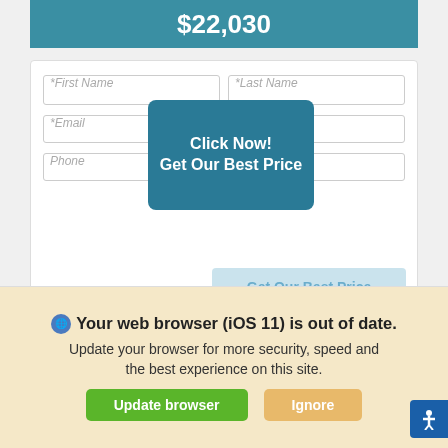$22,030
[Figure (screenshot): Form card with First Name, Last Name, Email, Phone input fields and a 'Click Now! Get Our Best Price' teal button overlay, with a ghost 'Get Our Best Price' button below]
MOSS BROS. CHRYSLER DODGE JEEP RAM RIVERSIDE
[Figure (photo): Moss Bros. Auto Group dealer banner image showing logo and a car]
We use cookies to optimize our website and our service.
Your web browser (iOS 11) is out of date. Update your browser for more security, speed and the best experience on this site.
Update browser
Ignore